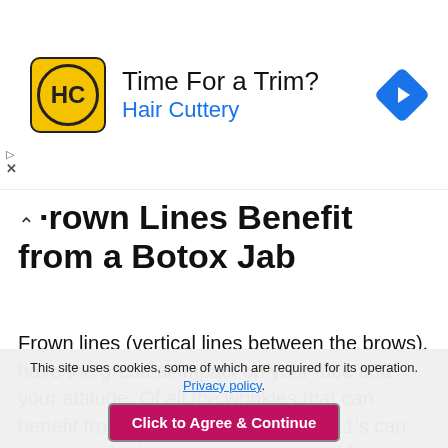[Figure (other): Hair Cuttery advertisement banner with logo, text 'Time For a Trim? Hair Cuttery', and a blue navigation diamond icon.]
Frown Lines Benefit from a Botox Jab
Frown lines (vertical lines between the brows), have the greatest impact on your face and your attitude. Of all the wrinkles that can benefit from Botox, softening those 11's can make you look instantly younger and happier.
It less than 10 minutes and in 7-10 days you'll look
This site uses cookies, some of which are required for its operation. Privacy policy.